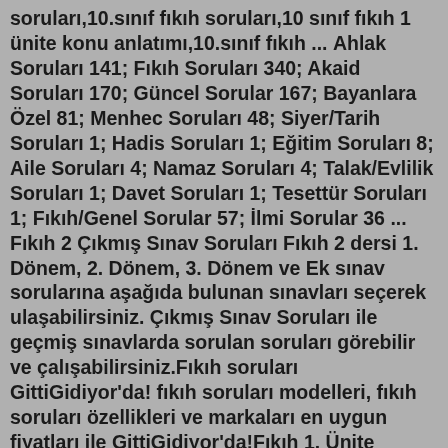soruları,10.sınıf fıkıh soruları,10 sınıf fıkıh 1 ünite konu anlatımı,10.sınıf fıkıh ... Ahlak Soruları 141; Fıkıh Soruları 340; Akaid Soruları 170; Güncel Sorular 167; Bayanlara Özel 81; Menhec Soruları 48; Siyer/Tarih Soruları 1; Hadis Soruları 1; Eğitim Soruları 8; Aile Soruları 4; Namaz Soruları 4; Talak/Evlilik Soruları 1; Davet Soruları 1; Tesettür Soruları 1; Fıkıh/Genel Sorular 57; İlmi Sorular 36 ... Fıkıh 2 Çıkmış Sınav Soruları Fıkıh 2 dersi 1. Dönem, 2. Dönem, 3. Dönem ve Ek sınav sorularına aşağıda bulunan sınavları seçerek ulaşabilirsiniz. Çıkmış Sınav Soruları ile geçmiş sınavlarda sorulan soruları görebilir ve çalışabilirsiniz.Fıkıh soruları GittiGidiyor'da! fıkıh soruları modelleri, fıkıh soruları özellikleri ve markaları en uygun fiyatları ile GittiGidiyor'da!Fıkıh 1. Ünite Çalışma Soruları 5. Fıkıh ilmi, usul ve fürû olmak üzere iki bölümden oluşmaktadır. Fıkıh usulü, fıkhın teorik yönünü ele alır. I. Münakehat II. Şeri hükümler III. Hukuki işlemler IV. Şeri deliller ve kaideler V. Müçtehit ve